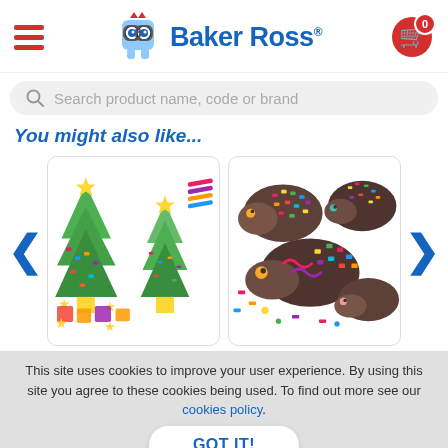[Figure (logo): Baker Ross website header with hamburger menu, Baker Ross logo with cartoon monster mascot, and shopping cart icon with 0 badge]
[Figure (screenshot): Search bar with placeholder text 'Search product name, code or brand']
You might also like...
[Figure (photo): Christmas tree craft kit product image showing foam Christmas trees with star decorations and colorful shapes]
[Figure (photo): Hedgehog craft kit product image showing cartoon hedgehogs with colorful bead decorations]
This site uses cookies to improve your user experience. By using this site you agree to these cookies being used. To find out more see our cookies policy.
GOT IT!